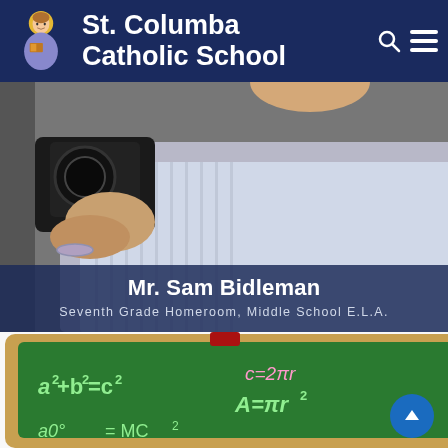St. Columba Catholic School
[Figure (photo): Photo of Mr. Sam Bidleman holding a camera, wearing a striped shirt, with another person visible at right]
Mr. Sam Bidleman
Seventh Grade Homeroom, Middle School E.L.A.
[Figure (illustration): Cartoon chalkboard with math equations: a²+b²=c², c=2πr, A=πr², and a partial equation at bottom left]